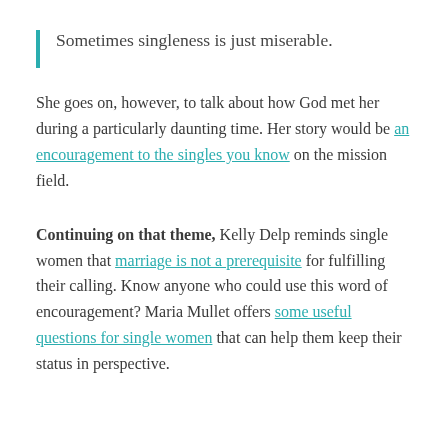Sometimes singleness is just miserable.
She goes on, however, to talk about how God met her during a particularly daunting time. Her story would be an encouragement to the singles you know on the mission field.
Continuing on that theme, Kelly Delp reminds single women that marriage is not a prerequisite for fulfilling their calling. Know anyone who could use this word of encouragement? Maria Mullet offers some useful questions for single women that can help them keep their status in perspective.